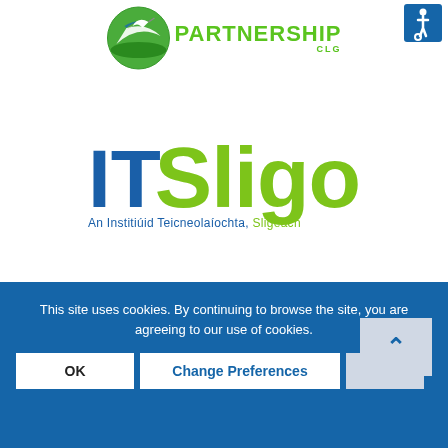[Figure (logo): Partnership CLG logo with bird/nature graphic and green text 'PARTNERSHIP CLG', plus blue accessibility icon on top right]
[Figure (logo): IT Sligo logo — 'IT' in dark blue block letters, 'Sligo' in large lime green letters with a swoosh, subtitle: 'An Institiúid Teicneolaíochta, Sligeach']
This site uses cookies. By continuing to browse the site, you are agreeing to our use of cookies.
OK | Change Preferences | ×